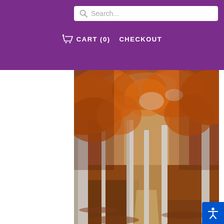Search... | CART (0) | CHECKOUT
[Figure (photo): Autumn forest path with tall trees, orange and brown leaves covering the ground and canopy, a narrow trail leads into the distance between white-barked trees.]
[Figure (other): Accessibility button icon in blue at bottom-right corner]